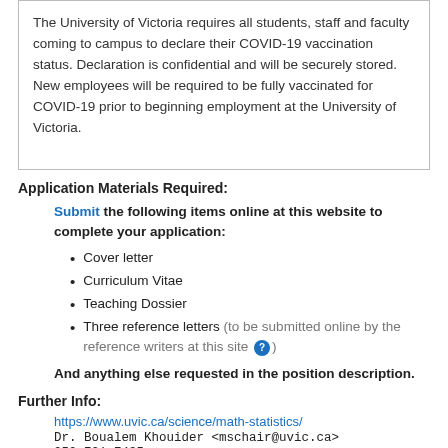The University of Victoria requires all students, staff and faculty coming to campus to declare their COVID-19 vaccination status. Declaration is confidential and will be securely stored. New employees will be required to be fully vaccinated for COVID-19 prior to beginning employment at the University of Victoria.
Application Materials Required:
Submit the following items online at this website to complete your application:
Cover letter
Curriculum Vitae
Teaching Dossier
Three reference letters (to be submitted online by the reference writers at this site ?)
And anything else requested in the position description.
Further Info:
https://www.uvic.ca/science/math-statistics/
Dr. Boualem Khouider <mschair@uvic.ca>
250 721 7435